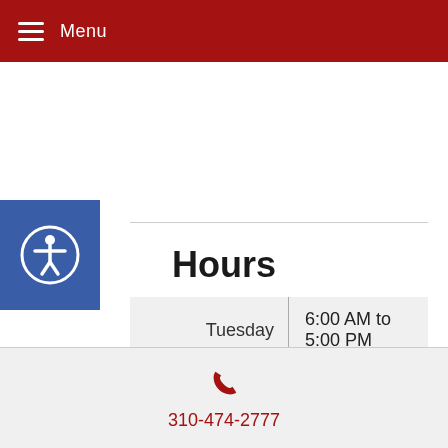Menu
[Figure (illustration): Blue accessibility icon button with wheelchair accessibility symbol in white circle]
Hours
| Day | Hours |
| --- | --- |
| Tuesday | 6:00 AM to 5:00 PM |
| Thursday | 6:00 AM to 5:00 PM |
| Saturday | 6:00 AM to 3:00 PM |
To Talk with Dr. Bresler
Click Here
310-474-2777